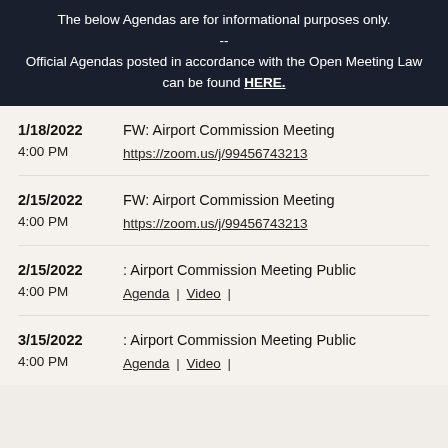The below Agendas are for informational purposes only. -- Official Agendas posted in accordance with the Open Meeting Law can be found HERE.
1/18/2022 4:00 PM | FW: Airport Commission Meeting | https://zoom.us/j/99456743213
2/15/2022 4:00 PM | FW: Airport Commission Meeting | https://zoom.us/j/99456743213
2/15/2022 4:00 PM | : Airport Commission Meeting Public | Agenda | Video |
3/15/2022 4:00 PM | : Airport Commission Meeting Public | Agenda | Video |